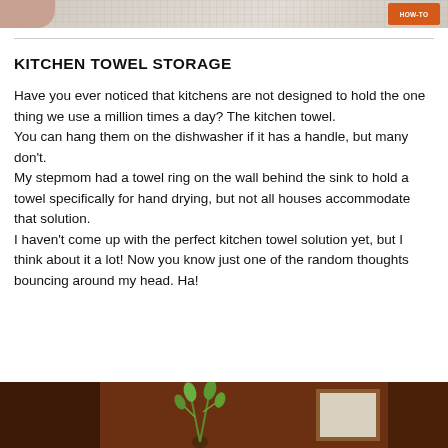[Figure (photo): Top banner image showing a partial hand/finger and an orange label, on a light grid background]
KITCHEN TOWEL STORAGE
Have you ever noticed that kitchens are not designed to hold the one thing we use a million times a day? The kitchen towel.
You can hang them on the dishwasher if it has a handle, but many don't.
My stepmom had a towel ring on the wall behind the sink to hold a towel specifically for hand drying, but not all houses accommodate that solution.
I haven't come up with the perfect kitchen towel solution yet, but I think about it a lot! Now you know just one of the random thoughts bouncing around my head. Ha!
[Figure (photo): Bottom photo showing wooden framed pictures on a dark reddish-brown wall with a green plant/wreath]